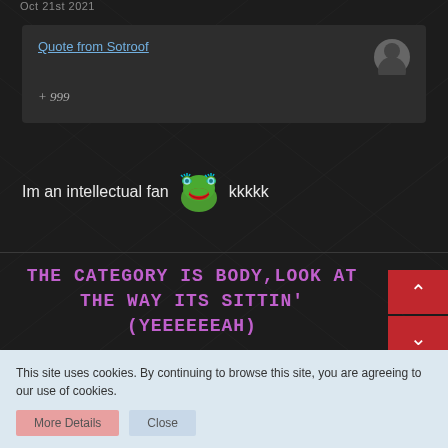Oct 21st 2021
Quote from Sotroof
+ 999
Im an intellectual fan [pepe emoji] kkkkk
THE CATEGORY IS BODY,LOOK AT THE WAY ITS SITTIN' (YEEEEEEAH)
This site uses cookies. By continuing to browse this site, you are agreeing to our use of cookies.